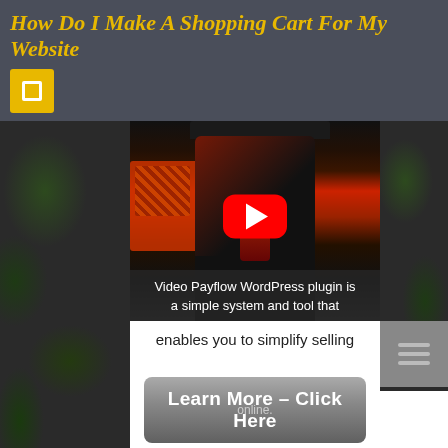How Do I Make A Shopping Cart For My Website
[Figure (screenshot): YouTube video thumbnail showing a person in a black t-shirt sitting in a gaming chair in front of a red sofa, with a large red YouTube play button overlay. Video caption reads: 'Video Payflow WordPress plugin is a simple system and tool that']
enables you to simplify selling online.
Learn More - Click Here
We know using video is possibly
BUILDER